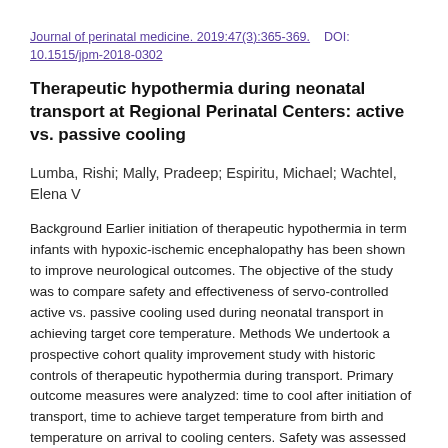Journal of perinatal medicine. 2019:47(3):365-369.    DOI: 10.1515/jpm-2018-0302
Therapeutic hypothermia during neonatal transport at Regional Perinatal Centers: active vs. passive cooling
Lumba, Rishi; Mally, Pradeep; Espiritu, Michael; Wachtel, Elena V
Background Earlier initiation of therapeutic hypothermia in term infants with hypoxic-ischemic encephalopathy has been shown to improve neurological outcomes. The objective of the study was to compare safety and effectiveness of servo-controlled active vs. passive cooling used during neonatal transport in achieving target core temperature. Methods We undertook a prospective cohort quality improvement study with historic controls of therapeutic hypothermia during transport. Primary outcome measures were analyzed: time to cool after initiation of transport, time to achieve target temperature from birth and temperature on arrival to cooling centers. Safety was assessed by group comparison of vital signs, diagnosis of persistent pulmonary hypertension (PPHN) and coagulation profiles on arrival. Results A total of 65 infants were included in the study. Time to cool after initiation of transport and time to achieve target temperature from birth were statistically